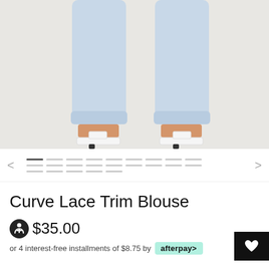[Figure (photo): Product photo showing lower half of a model wearing light-wash distressed jeans with rolled cuffs and white block-heeled sandals, standing against a light grey background.]
[Figure (other): Thumbnail image strip carousel navigation with left and right arrows and dashed thumbnail indicators, one active solid segment.]
Curve Lace Trim Blouse
$35.00
or 4 interest-free installments of $8.75 by afterpay